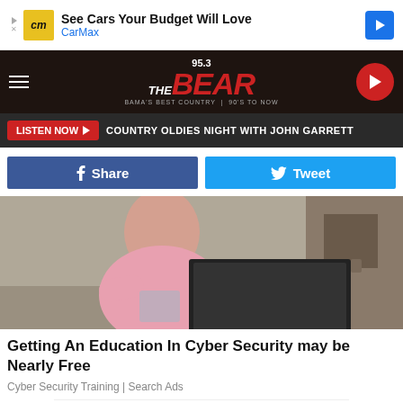[Figure (screenshot): CarMax advertisement banner with logo and 'See Cars Your Budget Will Love' headline and navigation arrow]
[Figure (screenshot): 95.3 The Bear radio station header with hamburger menu, logo, and play button]
LISTEN NOW ▶  COUNTRY OLDIES NIGHT WITH JOHN GARRETT
f Share   Tweet
[Figure (photo): Child in pink shirt using a laptop computer]
Getting An Education In Cyber Security may be Nearly Free
Cyber Security Training | Search Ads
[Figure (screenshot): Loyal Companion advertisement banner with 'Pet Health + Wellness Products' headline]